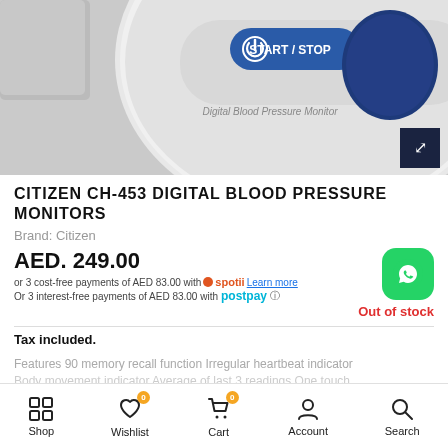[Figure (photo): Close-up photo of a Citizen CH-453 Digital Blood Pressure Monitor showing the white circular device with a blue START/STOP button and dark blue oval button. Text on device reads 'Digital Blood Pressure Monitor'. A dark expand icon is in the bottom-right corner of the image.]
CITIZEN CH-453 DIGITAL BLOOD PRESSURE MONITORS
Brand: Citizen
AED. 249.00
Out of stock
or 3 cost-free payments of AED 83.00 with spotii Learn more
Or 3 interest-free payments of AED 83.00 with postpay
Tax included.
Features 90 memory recall function Irregular heartbeat indicator Body movement indicator Average of last 3 readings One touch